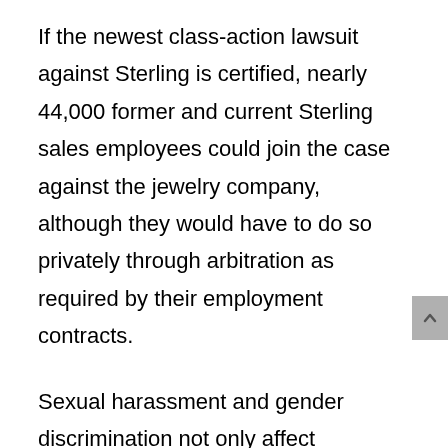If the newest class-action lawsuit against Sterling is certified, nearly 44,000 former and current Sterling sales employees could join the case against the jewelry company, although they would have to do so privately through arbitration as required by their employment contracts.
Sexual harassment and gender discrimination not only affect employees' job performance but also their employee rights. Any unfair labor practice based on gender is not tolerated under employment law. Consulting a legal professional with experience with the law should be the first step in addressing such issues.